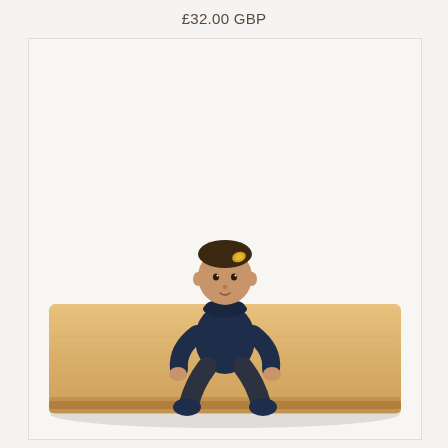£32.00 GBP
[Figure (photo): A baby sitting on a beige/sandy play mat against an off-white background. The baby is wearing a dark navy outfit with a small gold/yellow hair accessory. The rectangular padded play mat is visible beneath the baby.]